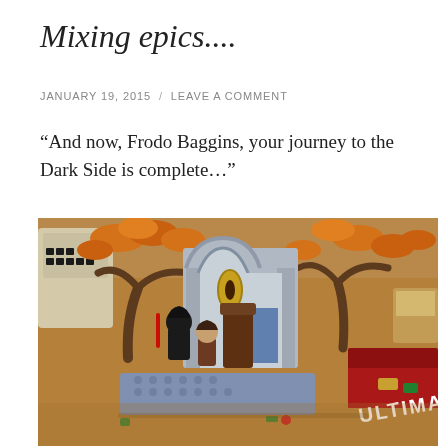Mixing epics....
JANUARY 19, 2015 / LEAVE A COMMENT
“And now, Frodo Baggins, your journey to the Dark Side is complete…”
[Figure (photo): A LEGO scene on a wooden desk combining Lord of the Rings and Star Wars sets, showing LEGO minifigures including a dark-robed figure (Darth Vader) and a hobbit-like figure in a fantasy arch setting with autumn trees. A telephone and other items are visible in the background. The text 'ULTIMATE' is partially visible at the bottom right.]